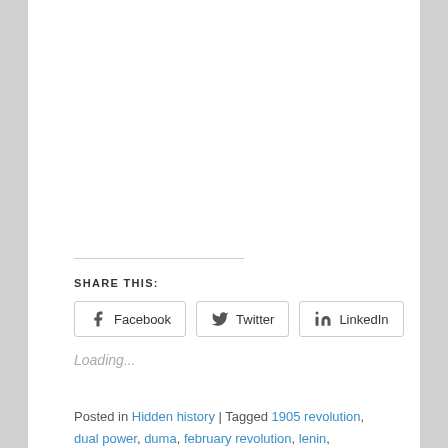SHARE THIS:
Loading...
Posted in Hidden history | Tagged 1905 revolution, dual power, duma, february revolution, lenin, nicholas ii, october revolution, petrograd soviet, provisional...